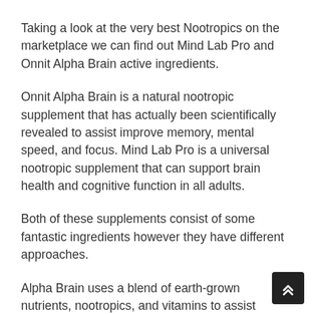Taking a look at the very best Nootropics on the marketplace we can find out Mind Lab Pro and Onnit Alpha Brain active ingredients.
Onnit Alpha Brain is a natural nootropic supplement that has actually been scientifically revealed to assist improve memory, mental speed, and focus. Mind Lab Pro is a universal nootropic supplement that can support brain health and cognitive function in all adults.
Both of these supplements consist of some fantastic ingredients however they have different approaches.
Alpha Brain uses a blend of earth-grown nutrients, nootropics, and vitamins to assist support cognitive function. Mind Lab Pro uses 11 clinically-proven brain-boosting ingredients that collaborate to